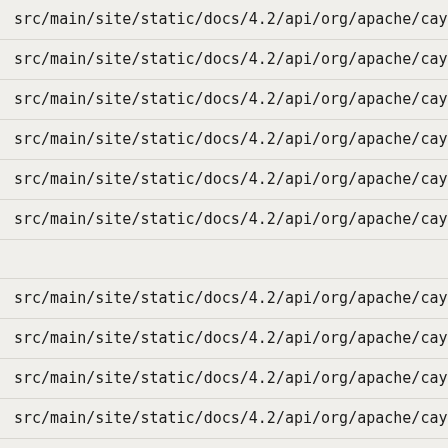src/main/site/static/docs/4.2/api/org/apache/cayenne/dba/h2/
src/main/site/static/docs/4.2/api/org/apache/cayenne/dba/h2/
src/main/site/static/docs/4.2/api/org/apache/cayenne/dba/h2/
src/main/site/static/docs/4.2/api/org/apache/cayenne/dba/h2/
src/main/site/static/docs/4.2/api/org/apache/cayenne/dba/h2/
src/main/site/static/docs/4.2/api/org/apache/cayenne/dba/h2/
src/main/site/static/docs/4.2/api/org/apache/cayenne/dba/h2/
src/main/site/static/docs/4.2/api/org/apache/cayenne/dba/h2/
src/main/site/static/docs/4.2/api/org/apache/cayenne/dba/h2/
src/main/site/static/docs/4.2/api/org/apache/cayenne/dba/h2/
src/main/site/static/docs/4.2/api/org/apache/cayenne/dba/h2/